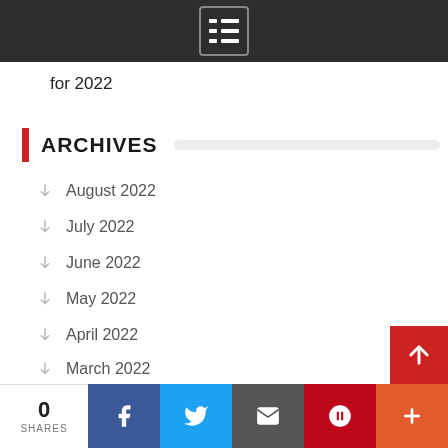for 2022
ARCHIVES
August 2022
July 2022
June 2022
May 2022
April 2022
March 2022
February 2022
January 2022
0 SHARES